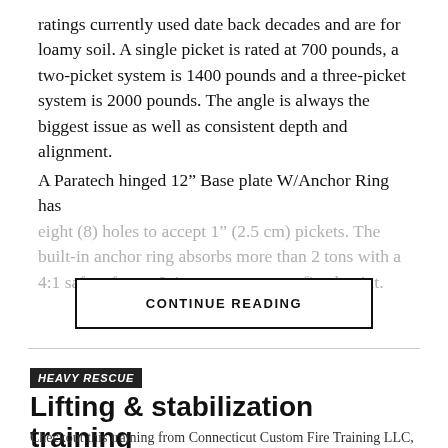ratings currently used date back decades and are for loamy soil. A single picket is rated at 700 pounds, a two-picket system is 1400 pounds and a three-picket system is 2000 pounds. The angle is always the biggest issue as well as consistent depth and alignment.
A Paratech hinged 12″ Base plate W/Anchor Ring has eight (8) holes to accept 1″ (2.5 cm) pickets. The built-in anchor ring absorbs more than 2 tons with a 4:1 safety factor. It is easy to use as a fixed point.
CONTINUE READING
HEAVY RESCUE
Lifting & stabilization training
Checkout this training from Connecticut Custom Fire Training LLC,